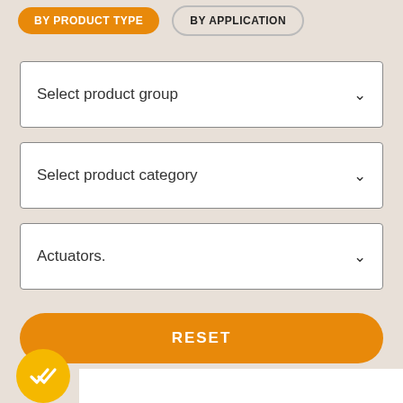BY PRODUCT TYPE
BY APPLICATION
Select product group
Select product category
Actuators.
RESET
[Figure (illustration): Yellow circular check/done button icon at bottom left]